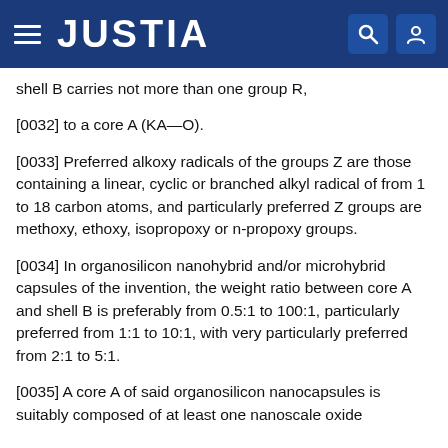JUSTIA
shell B carries not more than one group R,
[0032] to a core A (KA—O).
[0033] Preferred alkoxy radicals of the groups Z are those containing a linear, cyclic or branched alkyl radical of from 1 to 18 carbon atoms, and particularly preferred Z groups are methoxy, ethoxy, isopropoxy or n-propoxy groups.
[0034] In organosilicon nanohybrid and/or microhybrid capsules of the invention, the weight ratio between core A and shell B is preferably from 0.5:1 to 100:1, particularly preferred from 1:1 to 10:1, with very particularly preferred from 2:1 to 5:1.
[0035] A core A of said organosilicon nanocapsules is suitably composed of at least one nanoscale oxide